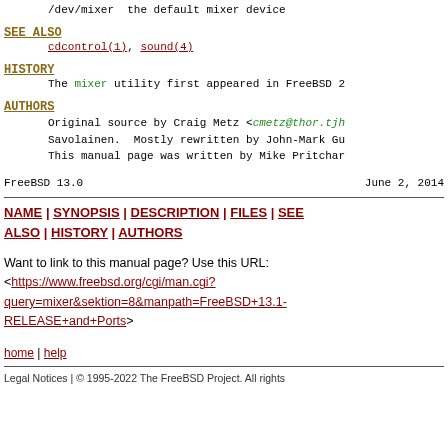/dev/mixer  the default mixer device
SEE ALSO
cdcontrol(1), sound(4)
HISTORY
The mixer utility first appeared in FreeBSD 2
AUTHORS
Original source by Craig Metz <cmetz@thor.tjh
Savolainen.  Mostly rewritten by John-Mark Gu
This manual page was written by Mike Pritchar
FreeBSD 13.0                                June 2, 2014
NAME | SYNOPSIS | DESCRIPTION | FILES | SEE ALSO | HISTORY | AUTHORS
Want to link to this manual page? Use this URL:
<https://www.freebsd.org/cgi/man.cgi?query=mixer&sektion=8&manpath=FreeBSD+13.1-RELEASE+and+Ports>
home | help
Legal Notices | © 1995-2022 The FreeBSD Project. All rights